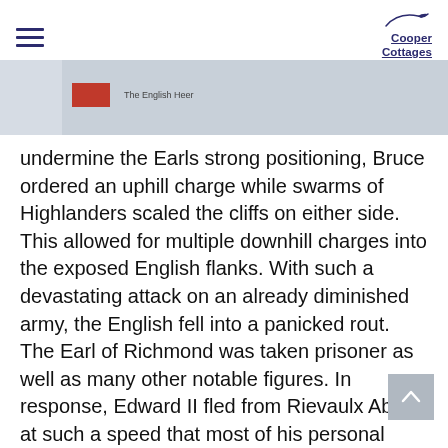Cooper Cottages
[Figure (photo): Partial view of a printed or displayed image showing a red rectangle and text reading 'The English Heer' on a light grey/blue background]
undermine the Earls strong positioning, Bruce ordered an uphill charge while swarms of Highlanders scaled the cliffs on either side. This allowed for multiple downhill charges into the exposed English flanks. With such a devastating attack on an already diminished army, the English fell into a panicked rout. The Earl of Richmond was taken prisoner as well as many other notable figures. In response, Edward II fled from Rievaulx Abbey at such a speed that most of his personal belongings were left behind.